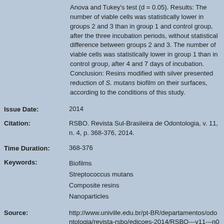Anova and Tukey's test (d = 0.05). Results: The number of viable cells was statistically lower in groups 2 and 3 than in group 1 and control group, after the three incubation periods, without statistical difference between groups 2 and 3. The number of viable cells was statistically lower in group 1 than in control group, after 4 and 7 days of incubation. Conclusion: Resins modified with silver presented reduction of S. mutans biofilm on their surfaces, according to the conditions of this study.
Issue Date: 2014
Citation: RSBO. Revista Sul-Brasileira de Odontologia, v. 11, n. 4, p. 368-376, 2014.
Time Duration: 368-376
Keywords: Biofilms Streptococcus mutans Composite resins Nanoparticles
Source: http://www.univille.edu.br/pt-BR/departamentos/odontologia/revista-rsbo/edicoes-2014/RSBO---v11---n04/724468